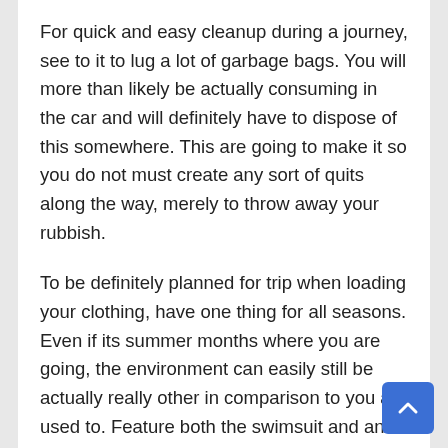For quick and easy cleanup during a journey, see to it to lug a lot of garbage bags. You will more than likely be actually consuming in the car and will definitely have to dispose of this somewhere. This are going to make it so you do not must create any sort of quits along the way, merely to throw away your rubbish.
To be definitely planned for trip when loading your clothing, have one thing for all seasons. Even if its summer months where you are going, the environment can easily still be actually really other in comparison to you are used to. Feature both the swimsuit and an excellent jacket merely in the event that. Also the Bahamas acquire awesome on rare events.